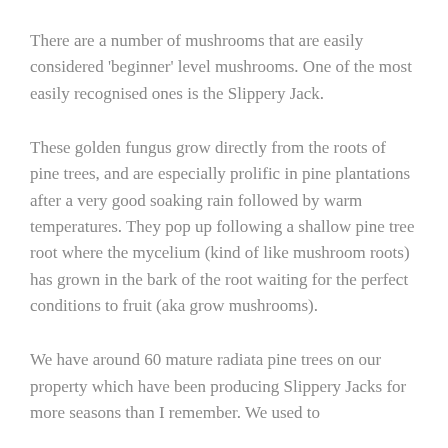There are a number of mushrooms that are easily considered 'beginner' level mushrooms. One of the most easily recognised ones is the Slippery Jack.
These golden fungus grow directly from the roots of pine trees, and are especially prolific in pine plantations after a very good soaking rain followed by warm temperatures. They pop up following a shallow pine tree root where the mycelium (kind of like mushroom roots) has grown in the bark of the root waiting for the perfect conditions to fruit (aka grow mushrooms).
We have around 60 mature radiata pine trees on our property which have been producing Slippery Jacks for more seasons than I remember. We used to